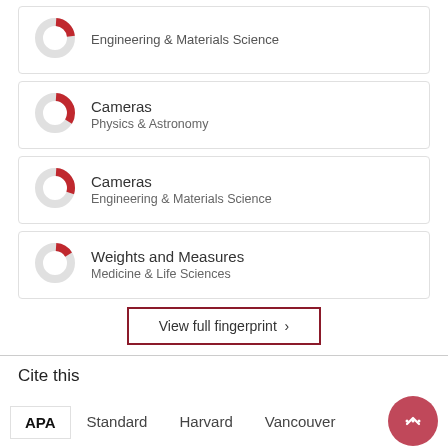[Figure (donut-chart): Partial donut chart icon — Engineering & Materials Science]
Cameras
Physics & Astronomy
Cameras
Engineering & Materials Science
Weights and Measures
Medicine & Life Sciences
View full fingerprint ›
Cite this
APA   Standard   Harvard   Vancouver